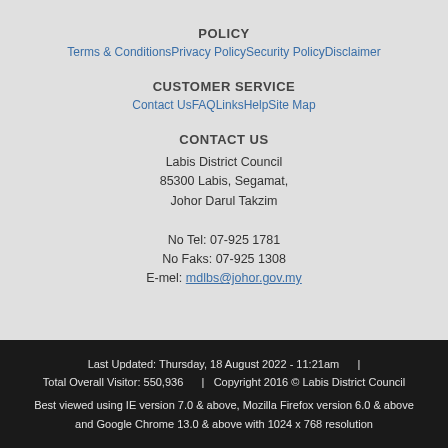POLICY
Terms & ConditionsPrivacy PolicySecurity PolicyDisclaimer
CUSTOMER SERVICE
Contact UsFAQLinksHelpSite Map
CONTACT US
Labis District Council
85300 Labis, Segamat,
Johor Darul Takzim

No Tel: 07-925 1781
No Faks: 07-925 1308
E-mel: mdlbs@johor.gov.my
Last Updated: Thursday, 18 August 2022 - 11:21am     |     Total Overall Visitor: 550,936     |   Copyright 2016 © Labis District Council
Best viewed using IE version 7.0 & above, Mozilla Firefox version 6.0 & above and Google Chrome 13.0 & above with 1024 x 768 resolution